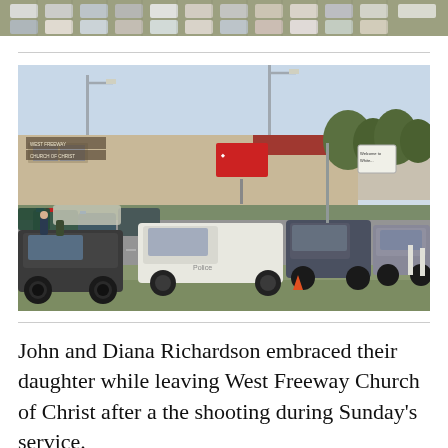[Figure (photo): Aerial or elevated view of a parking lot with many vehicles, partial crop at top of page]
[Figure (photo): Ground-level photo of West Freeway Church of Christ parking lot with numerous police and emergency vehicles, a white pickup truck prominently in the center, a tan church building in the background, and a grassy area in the foreground]
John and Diana Richardson embraced their daughter while leaving West Freeway Church of Christ after a the shooting during Sunday's service.